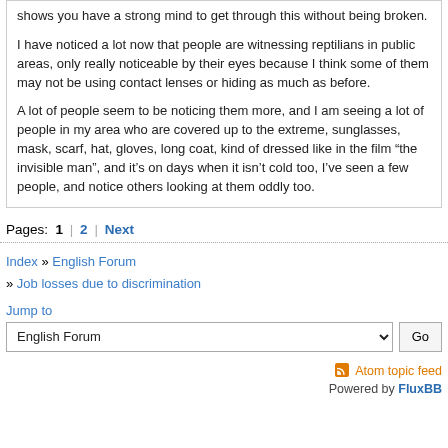shows you have a strong mind to get through this without being broken.

I have noticed a lot now that people are witnessing reptilians in public areas, only really noticeable by their eyes because I think some of them may not be using contact lenses or hiding as much as before.

A lot of people seem to be noticing them more, and I am seeing a lot of people in my area who are covered up to the extreme, sunglasses, mask, scarf, hat, gloves, long coat, kind of dressed like in the film “the invisible man”, and it’s on days when it isn’t cold too, I’ve seen a few people, and notice others looking at them oddly too.
Pages: 1 | 2 | Next
Index » English Forum » Job losses due to discrimination
Jump to
English Forum
Atom topic feed
Powered by FluxBB